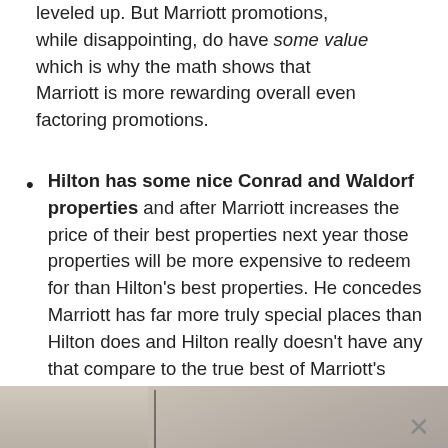…leveled up. But Marriott promotions, while disappointing, do have some value which is why the math shows that Marriott is more rewarding overall even factoring promotions.
Hilton has some nice Conrad and Waldorf properties and after Marriott increases the price of their best properties next year those properties will be more expensive to redeem for than Hilton's best properties. He concedes Marriott has far more truly special places than Hilton does and Hilton really doesn't have any that compare to the true best of Marriott's portfolio.
[Figure (photo): Partial view of a hotel interior image strip at the bottom of the page, with an X close button overlay]